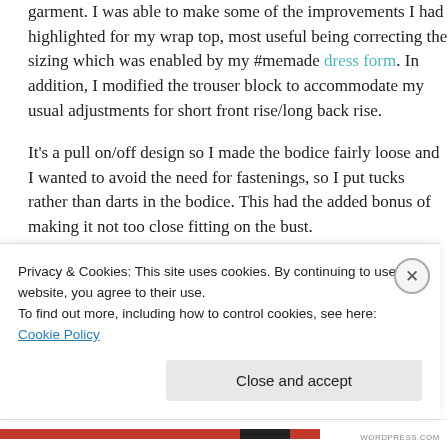garment. I was able to make some of the improvements I had highlighted for my wrap top, most useful being correcting the sizing which was enabled by my #memade dress form. In addition, I modified the trouser block to accommodate my usual adjustments for short front rise/long back rise.
It's a pull on/off design so I made the bodice fairly loose and I wanted to avoid the need for fastenings, so I put tucks rather than darts in the bodice. This had the added bonus of making it not too close fitting on the bust.
Privacy & Cookies: This site uses cookies. By continuing to use this website, you agree to their use.
To find out more, including how to control cookies, see here: Cookie Policy
Close and accept